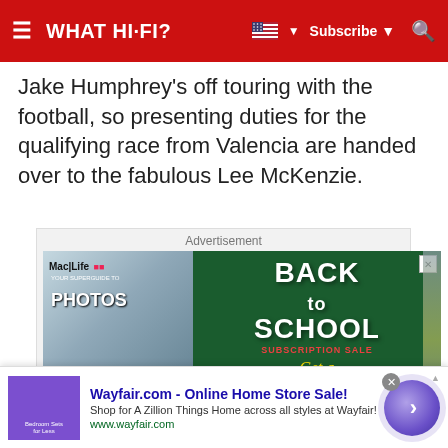WHAT HI-FI?  Subscribe
Jake Humphrey's off touring with the football, so presenting duties for the qualifying race from Valencia are handed over to the fabulous Lee McKenzie.
Advertisement
[Figure (photo): Back to School Subscription Sale advertisement for Mac Life magazine showing magazines stacked on left and green chalkboard background on right with 'BACK to SCHOOL SUBSCRIPTION SALE Get a complimentary guide and special!!' text]
[Figure (infographic): Wayfair.com Online Home Store Sale bottom banner advertisement with purple thumbnail image, ad title, description, URL and circular arrow button]